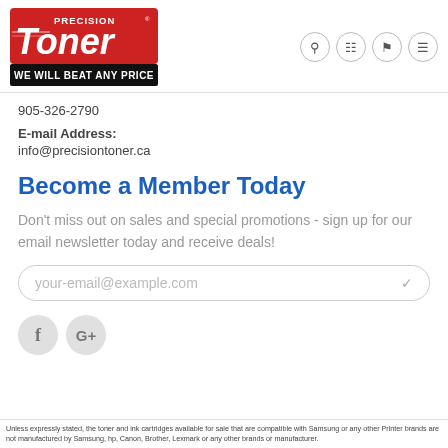[Figure (logo): Precision Toner logo with red background and 'WE WILL BEAT ANY PRICE' banner]
905-326-2790
E-mail Address:
info@precisiontoner.ca
Become a Member Today
Don't miss out on sales and special promotions - sign up for our email newsletter today and receive deals!
your-email@example.com
[Figure (illustration): Facebook and Google+ social media icon circles]
Unless expressly stated, the toner and ink cartridges available for sale that are compatible with Samsung or any other Printer brands are not manufactured by Samsung, hp, Canon, Brother, Lexmark or any other brands or manufacturer.